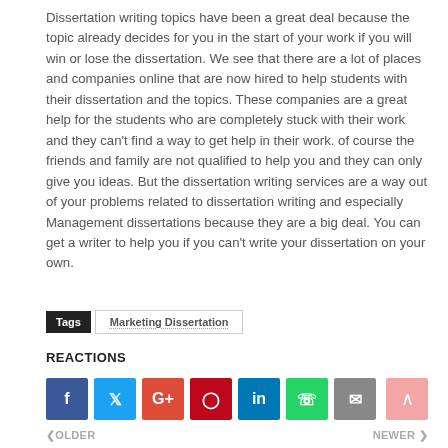Dissertation writing topics have been a great deal because the topic already decides for you in the start of your work if you will win or lose the dissertation. We see that there are a lot of places and companies online that are now hired to help students with their dissertation and the topics. These companies are a great help for the students who are completely stuck with their work and they can't find a way to get help in their work. of course the friends and family are not qualified to help you and they can only give you ideas. But the dissertation writing services are a way out of your problems related to dissertation writing and especially Management dissertations because they are a big deal. You can get a writer to help you if you can't write your dissertation on your own.
Tags  Marketing Dissertation
REACTIONS
[Figure (other): Social sharing buttons: Facebook, Twitter, Google+, Pinterest, LinkedIn, WhatsApp, Email, and a scroll-to-top button]
OLDER   NEWER